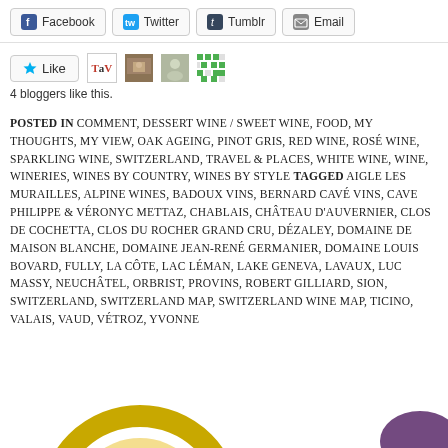[Figure (screenshot): Share bar with Facebook, Twitter, Tumblr, Email buttons]
[Figure (screenshot): Like button with star icon and blogger avatars including TaV logo and photo thumbnails]
4 bloggers like this.
POSTED IN COMMENT, DESSERT WINE / SWEET WINE, FOOD, MY THOUGHTS, MY VIEW, OAK AGEING, PINOT GRIS, RED WINE, ROSÉ WINE, SPARKLING WINE, SWITZERLAND, TRAVEL & PLACES, WHITE WINE, WINE, WINERIES, WINES BY COUNTRY, WINES BY STYLE TAGGED AIGLE LES MURAILLES, ALPINE WINES, BADOUX VINS, BERNARD CAVÉ VINS, CAVE PHILIPPE & VÉRONYC METTAZ, CHABLAIS, CHÂTEAU D'AUVERNIER, CLOS DE COCHETTA, CLOS DU ROCHER GRAND CRU, DÉZALEY, DOMAINE DE MAISON BLANCHE, DOMAINE JEAN-RENÉ GERMANIER, DOMAINE LOUIS BOVARD, FULLY, LA CÔTE, LAC LÉMAN, LAKE GENEVA, LAVAUX, LUC MASSY, NEUCHÂTEL, ORBRIST, PROVINS, ROBERT GILLIARD, SION, SWITZERLAND, SWITZERLAND MAP, SWITZERLAND WINE MAP, TICINO, VALAIS, VAUD, VÉTROZ, YVONNE
[Figure (photo): Partially visible gold circular object (wine glass base or coin) at bottom of page]